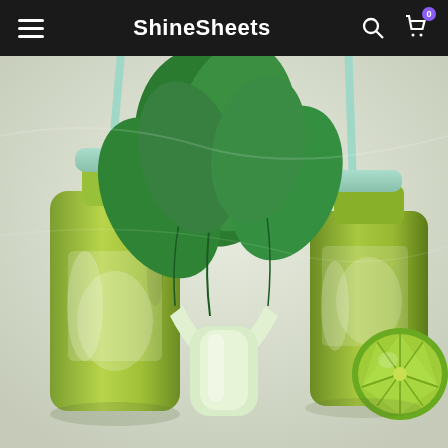ShineSheets
[Figure (photo): Overhead flat-lay photo showing two glass milk-bottle-style containers filled with green smoothie/juice with light blue lids and light blue straws. In the center is a fresh bok choy plant. On the right side are a halved kiwi fruit and a halved lime. All items are arranged on a light grey/white surface.]